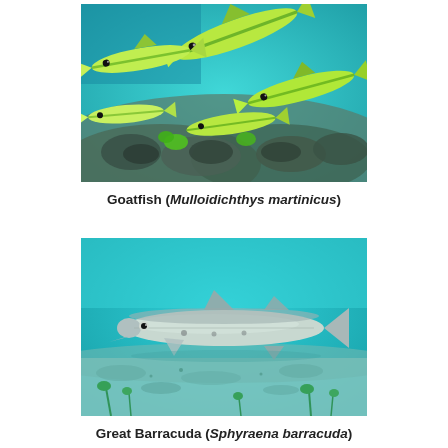[Figure (photo): Underwater photograph of Goatfish (Mulloidichthys martinicus) - several yellow-green fish swimming over a rocky coral reef bottom in clear blue-green water]
Goatfish (Mulloidichthys martinicus)
[Figure (photo): Underwater photograph of Great Barracuda (Sphyraena barracuda) - a large elongated silver barracuda fish resting near sandy seafloor in turquoise water with some aquatic plants]
Great Barracuda (Sphyraena barracuda)